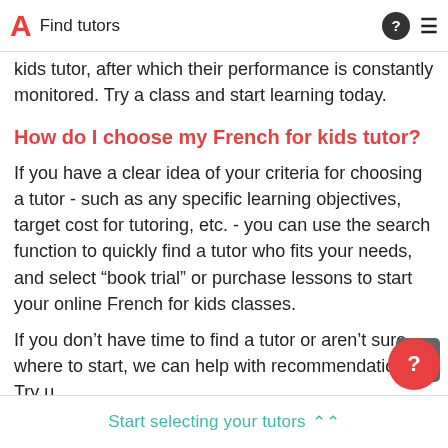Find tutors
kids tutor, after which their performance is constantly monitored. Try a class and start learning today.
How do I choose my French for kids tutor?
If you have a clear idea of your criteria for choosing a tutor - such as any specific learning objectives, target cost for tutoring, etc. - you can use the search function to quickly find a tutor who fits your needs, and select “book trial” or purchase lessons to start your online French for kids classes.
If you don't have time to find a tutor or aren't sure where to start, we can help with recommendations. Try u
Start selecting your tutors